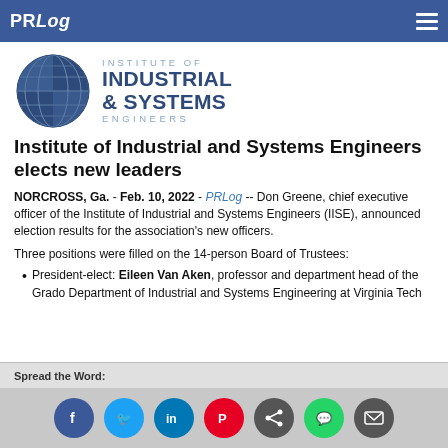PRLog
[Figure (logo): Institute of Industrial & Systems Engineers logo with globe graphic]
Institute of Industrial and Systems Engineers elects new leaders
NORCROSS, Ga. - Feb. 10, 2022 - PRLog -- Don Greene, chief executive officer of the Institute of Industrial and Systems Engineers (IISE), announced election results for the association's new officers.
Three positions were filled on the 14-person Board of Trustees:
President-elect: Eileen Van Aken, professor and department head of the Grado Department of Industrial and Systems Engineering at Virginia Tech
Spread the Word: